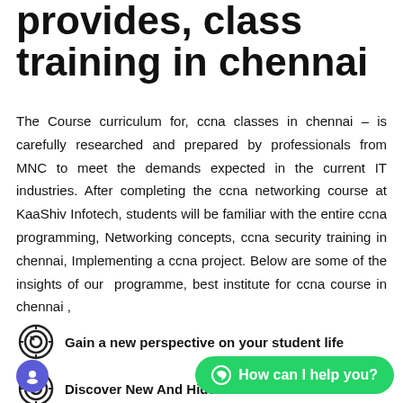provides, class training in chennai
The Course curriculum for, ccna classes in chennai – is carefully researched and prepared by professionals from MNC to meet the demands expected in the current IT industries. After completing the ccna networking course at KaaShiv Infotech, students will be familiar with the entire ccna programming, Networking concepts, ccna security training in chennai, Implementing a ccna project. Below are some of the insights of our programme, best institute for ccna course in chennai ,
Gain a new perspective on your student life
Discover New And Hidden Talent